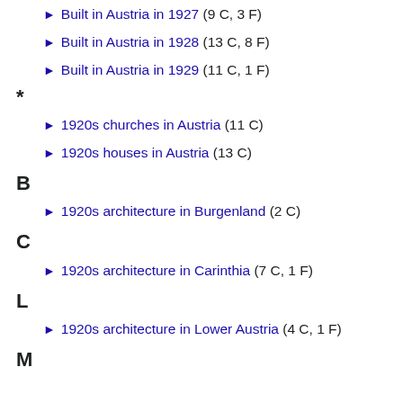▶ Built in Austria in 1927 (9 C, 3 F)
▶ Built in Austria in 1928 (13 C, 8 F)
▶ Built in Austria in 1929 (11 C, 1 F)
*
▶ 1920s churches in Austria (11 C)
▶ 1920s houses in Austria (13 C)
B
▶ 1920s architecture in Burgenland (2 C)
C
▶ 1920s architecture in Carinthia (7 C, 1 F)
L
▶ 1920s architecture in Lower Austria (4 C, 1 F)
M